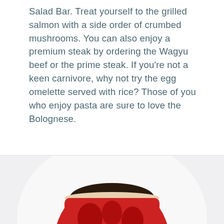Salad Bar. Treat yourself to the grilled salmon with a side order of crumbed mushrooms. You can also enjoy a premium steak by ordering the Wagyu beef or the prime steak. If you're not a keen carnivore, why not try the egg omelette served with rice? Those of you who enjoy pasta are sure to love the Bolognese.
[Figure (photo): A cup or bowl with a red decorative pattern on the outside and dark food content visible inside, photographed from slightly above.]